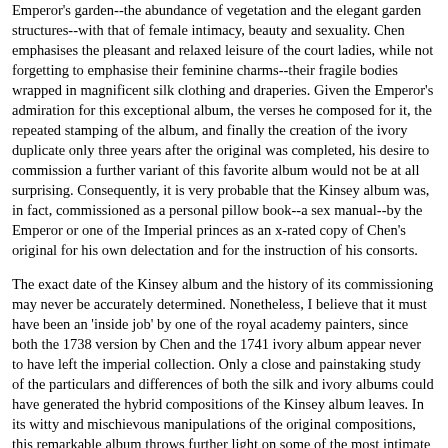Emperor's garden--the abundance of vegetation and the elegant garden structures--with that of female intimacy, beauty and sexuality. Chen emphasises the pleasant and relaxed leisure of the court ladies, while not forgetting to emphasise their feminine charms--their fragile bodies wrapped in magnificent silk clothing and draperies. Given the Emperor's admiration for this exceptional album, the verses he composed for it, the repeated stamping of the album, and finally the creation of the ivory duplicate only three years after the original was completed, his desire to commission a further variant of this favorite album would not be at all surprising. Consequently, it is very probable that the Kinsey album was, in fact, commissioned as a personal pillow book--a sex manual--by the Emperor or one of the Imperial princes as an x-rated copy of Chen's original for his own delectation and for the instruction of his consorts.
The exact date of the Kinsey album and the history of its commissioning may never be accurately determined. Nonetheless, I believe that it must have been an 'inside job' by one of the royal academy painters, since both the 1738 version by Chen and the 1741 ivory album appear never to have left the imperial collection. Only a close and painstaking study of the particulars and differences of both the silk and ivory albums could have generated the hybrid compositions of the Kinsey album leaves. In its witty and mischievous manipulations of the original compositions, this remarkable album throws further light on some of the most intimate dimensions of Qing court culture and imperial workshop practices, as well as on the history of sexuality and sexual fantasy.
An earlier version of this paper was delivered at the 2002 Graduate Student Seminar at the Art Institute of Chicago. I am very grateful to Susan Nelson of the Department of the History of Art at Indiana University, Bloomington, for her invaluable guidance with this project and for her ongoing support. I would also like thank my fellow seminar participants for